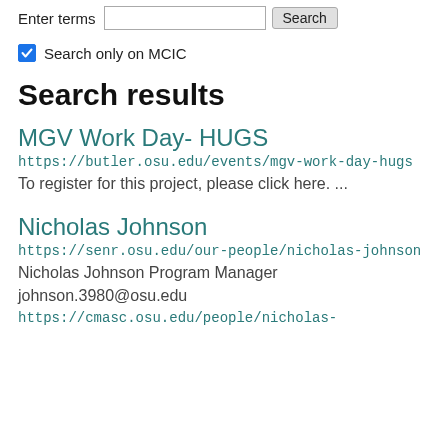Enter terms [search box] Search
Search only on MCIC
Search results
MGV Work Day- HUGS
https://butler.osu.edu/events/mgv-work-day-hugs
To register for this project, please click here. ...
Nicholas Johnson
https://senr.osu.edu/our-people/nicholas-johnson
Nicholas Johnson Program Manager johnson.3980@osu.edu
https://cmasc.osu.edu/people/nicholas-